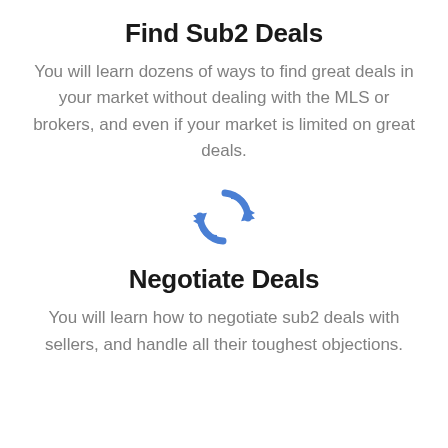Find Sub2 Deals
You will learn dozens of ways to find great deals in your market without dealing with the MLS or brokers, and even if your market is limited on great deals.
[Figure (illustration): Blue circular arrows refresh/cycle icon]
Negotiate Deals
You will learn how to negotiate sub2 deals with sellers, and handle all their toughest objections.